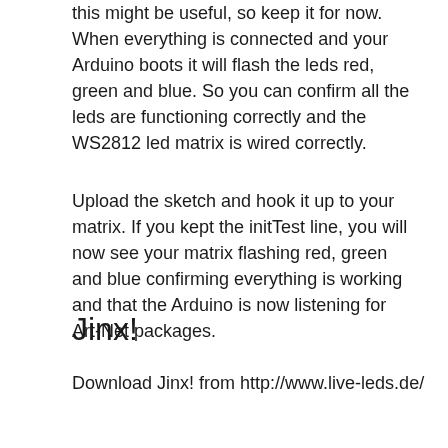this might be useful, so keep it for now. When everything is connected and your Arduino boots it will flash the leds red, green and blue. So you can confirm all the leds are functioning correctly and the WS2812 led matrix is wired correctly.
Upload the sketch and hook it up to your matrix. If you kept the initTest line, you will now see your matrix flashing red, green and blue confirming everything is working and that the Arduino is now listening for Art-Net packages.
Jinx!
Download Jinx! from http://www.live-leds.de/
[Figure (screenshot): Screenshot of Jinx! - LED Matrix Control application window showing title bar with 'Jinx - LED Matrix Control', menu bar with File, View, Setup, Help options, and a blue toolbar area.]